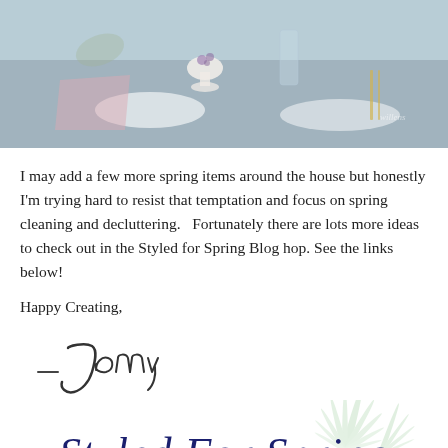[Figure (photo): Photo of a spring table setting with decorative items including flowers in an egg cup, pink napkins, gold flatware, and glassware on a grey table]
I may add a few more spring items around the house but honestly I'm trying hard to resist that temptation and focus on spring cleaning and decluttering.   Fortunately there are lots more ideas to check out in the Styled for Spring Blog hop. See the links below!
Happy Creating,
[Figure (illustration): Handwritten cursive signature reading '- Jenny']
[Figure (logo): Logo reading 'Styled For Spring home tours hosted by Jenna of WifeinProgressBlog.com' with decorative palm leaf illustration in light green]